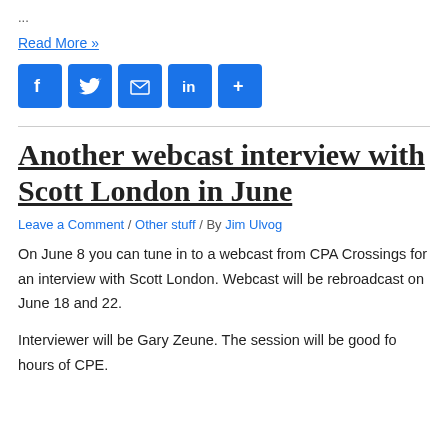...
Read More »
[Figure (other): Social sharing icons: Facebook, Twitter, Email, LinkedIn, More]
Another webcast interview with Scott London in June
Leave a Comment / Other stuff / By Jim Ulvog
On June 8 you can tune in to a webcast from CPA Crossings for an interview with Scott London. Webcast will be rebroadcast on June 18 and 22.
Interviewer will be Gary Zeune. The session will be good fo hours of CPE.